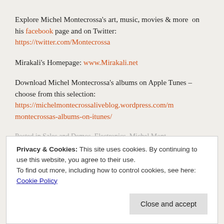Explore Michel Montecrossa's art, music, movies & more on his facebook page and on Twitter: https://twitter.com/Montecrossa
Mirakali's Homepage: www.Mirakali.net
Download Michel Montecrossa's albums on Apple Tunes – choose from this selection: https://michelmontecrossaliveblog.wordpress.com/montecrossas-albums-on-itunes/
Privacy & Cookies: This site uses cookies. By continuing to use this website, you agree to their use. To find out more, including how to control cookies, see here: Cookie Policy
Close and accept